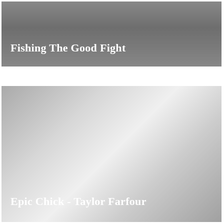[Figure (illustration): Book cover image with dark gray gradient background, upper card showing title 'Fishing The Good Fight' in white bold text at lower left]
Fishing The Good Fight
[Figure (illustration): Book cover image with light gray radial gradient background, lower card showing title 'Epic Chick - Taylor Farfour' in white bold text at lower left]
Epic Chick - Taylor Farfour